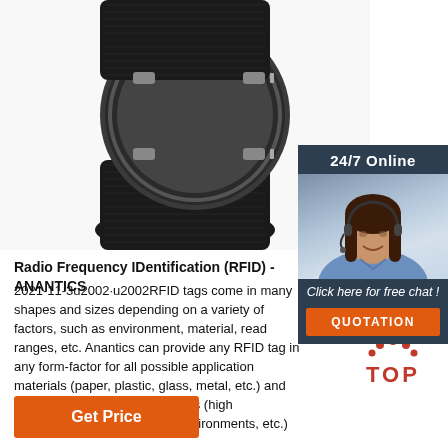[Figure (photo): RFID wristband/smartwatch band with round metal frame and black woven nylon strap, shown on white background]
[Figure (photo): 24/7 online customer service widget showing a smiling female agent with headset and buttons for free chat and quotation]
Radio Frequency IDentification (RFID) - ANANTICS
2021-11-3u2002·u2002RFID tags come in many shapes and sizes depending on a variety of factors, such as environment, material, read ranges, etc. Anantics can provide any RFID tag in any form-factor for all possible application materials (paper, plastic, glass, metal, etc.) and different operating environments (high temperature, acid and alkali environments, etc.)
[Figure (other): TOP scroll-to-top button with orange dots above and red TOP text]
Get Price